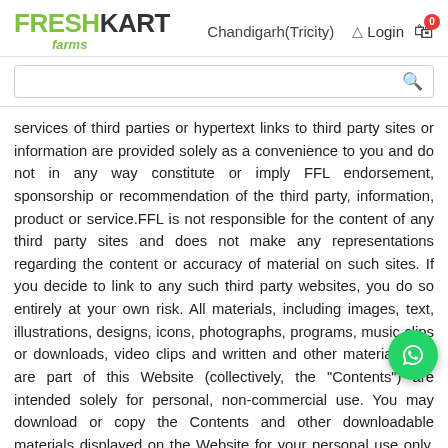[Figure (logo): FreshKart Farms logo with green FRESH and dark KART text, green italic farms below]
Chandigarh(Tricity)
[Figure (screenshot): Login icon and cart icon with badge showing 0]
services of third parties or hypertext links to third party sites or information are provided solely as a convenience to you and do not in any way constitute or imply FFL endorsement, sponsorship or recommendation of the third party, information, product or service.FFL is not responsible for the content of any third party sites and does not make any representations regarding the content or accuracy of material on such sites. If you decide to link to any such third party websites, you do so entirely at your own risk. All materials, including images, text, illustrations, designs, icons, photographs, programs, music clips or downloads, video clips and written and other materials that are part of this Website (collectively, the "Contents") are intended solely for personal, non-commercial use. You may download or copy the Contents and other downloadable materials displayed on the Website for your personal use only. No right, title or interest in any downloaded